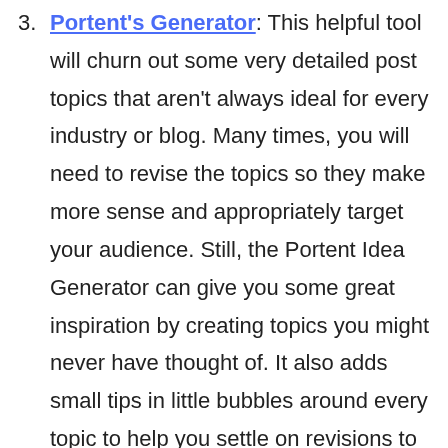3. Portent's Generator: This helpful tool will churn out some very detailed post topics that aren't always ideal for every industry or blog. Many times, you will need to revise the topics so they make more sense and appropriately target your audience. Still, the Portent Idea Generator can give you some great inspiration by creating topics you might never have thought of. It also adds small tips in little bubbles around every topic to help you settle on revisions to enhance conversion potential.
4. Quora Questions & Answers: If you're looking for blog ideas that are likely to